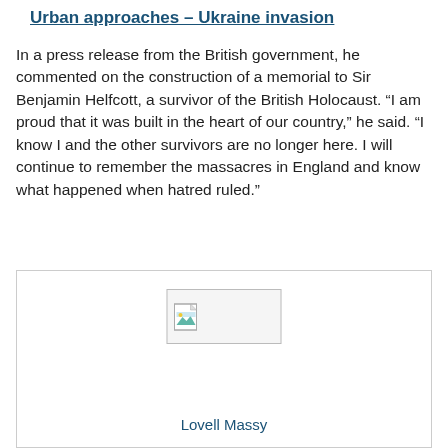Urban approaches – Ukraine invasion
In a press release from the British government, he commented on the construction of a memorial to Sir Benjamin Helfcott, a survivor of the British Holocaust. “I am proud that it was built in the heart of our country,” he said. “I know I and the other survivors are no longer here. I will continue to remember the massacres in England and know what happened when hatred ruled.”
[Figure (photo): Broken/unloaded image placeholder inside a bordered box, with caption 'Lovell Massy' below in blue text.]